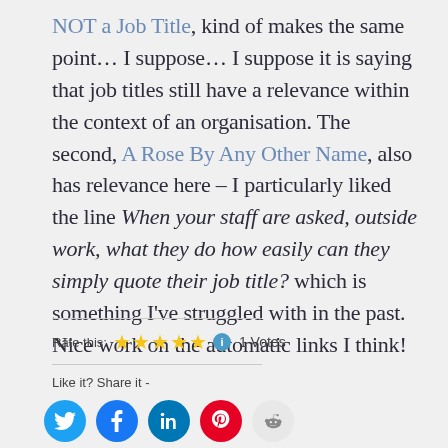NOT a Job Title, kind of makes the same point… I suppose… I suppose it is saying that job titles still have a relevance within the context of an organisation. The second, A Rose By Any Other Name, also has relevance here – I particularly liked the line When your staff are asked, outside work, what they do how easily can they simply quote their job title? which is something I've struggled with in the past. Nice work on the automatic links I think!
Rate this: ★★★★★ ⓘ 1 Votes
Like it? Share it -
[Figure (infographic): Social media share buttons: Twitter (blue), Facebook (blue), LinkedIn (blue), Pinterest (red), Reddit (light grey)]